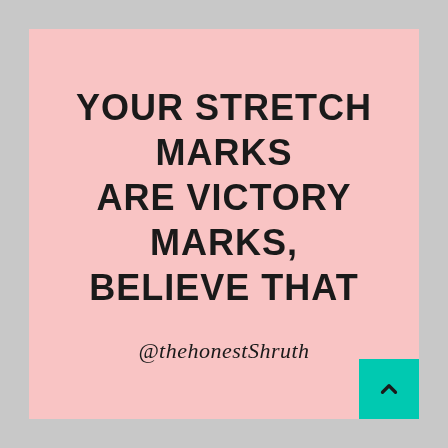YOUR STRETCH MARKS ARE VICTORY MARKS, BELIEVE THAT
@thehonestShruth